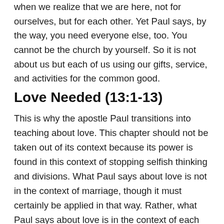when we realize that we are here, not for ourselves, but for each other. Yet Paul says, by the way, you need everyone else, too. You cannot be the church by yourself. So it is not about us but each of us using our gifts, service, and activities for the common good.
Love Needed (13:1-13)
This is why the apostle Paul transitions into teaching about love. This chapter should not be taken out of its context because its power is found in this context of stopping selfish thinking and divisions. What Paul says about love is not in the context of marriage, though it must certainly be applied in that way. Rather, what Paul says about love is in the context of each other in the church. We are patient and kind. We do not envy or boast. We are not arrogant. We are rude. We do not insist on our own way. We are not irritable or